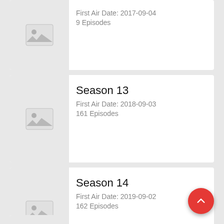First Air Date: 2017-09-04
9 Episodes
Season 13
First Air Date: 2018-09-03
161 Episodes
Season 14
First Air Date: 2019-09-02
162 Episodes
Season 15